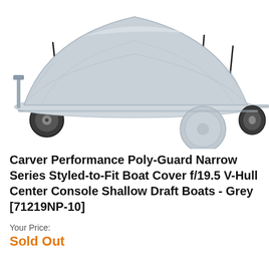[Figure (photo): A grey boat cover on a boat resting on a trailer, photographed outdoors. The boat is covered with a light grey Carver poly-guard cover with straps, and a matching grey spare tire cover is visible on the trailer tongue. The trailer has silver metal framing and rubber wheels.]
Carver Performance Poly-Guard Narrow Series Styled-to-Fit Boat Cover f/19.5 V-Hull Center Console Shallow Draft Boats - Grey [71219NP-10]
Your Price:
Sold Out